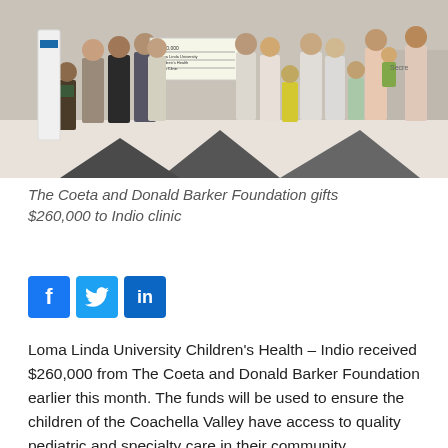[Figure (photo): Group photo of many people standing together indoors, some holding a large check from The Coeta and Donald Barker Foundation. Adults and children are present. Indoor setting with light flooring.]
The Coeta and Donald Barker Foundation gifts $260,000 to Indio clinic
[Figure (infographic): Social media share icons: Facebook (f), Twitter (bird), LinkedIn (in)]
Loma Linda University Children's Health – Indio received $260,000 from The Coeta and Donald Barker Foundation earlier this month. The funds will be used to ensure the children of the Coachella Valley have access to quality pediatric and specialty care in their community.